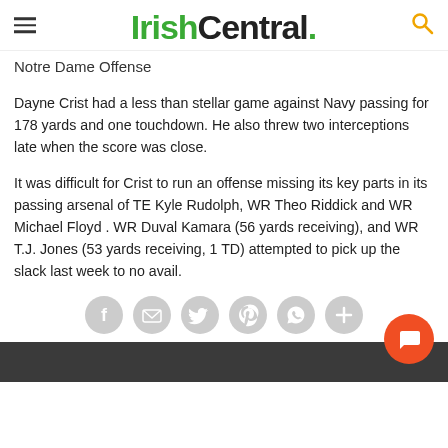IrishCentral.
Notre Dame Offense
Dayne Crist had a less than stellar game against Navy passing for 178 yards and one touchdown. He also threw two interceptions late when the score was close.
It was difficult for Crist to run an offense missing its key parts in its passing arsenal of TE Kyle Rudolph, WR Theo Riddick and WR Michael Floyd . WR Duval Kamara (56 yards receiving), and WR T.J. Jones (53 yards receiving, 1 TD) attempted to pick up the slack last week to no avail.
[Figure (other): Social sharing icons row: Facebook, Email, Twitter, Pinterest, WhatsApp, More]